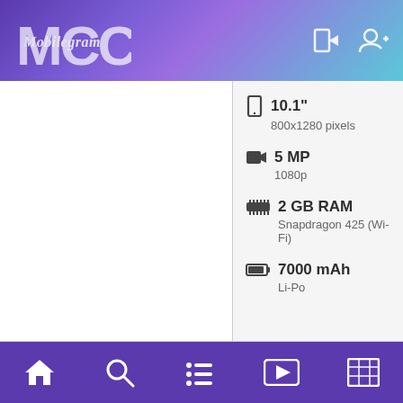[Figure (logo): MCC Mobilegram app logo and header with gradient background, login and register icons]
10.1" 800x1280 pixels
5 MP 1080p
2 GB RAM Snapdragon 425 (Wi-Fi)
7000 mAh Li-Po
| Currency | Amount |
| --- | --- |
| PKR | 16,446 |
| INR | 14,280.00 |
| $ | 204.00 |
| € | 180.00 |
[Figure (screenshot): Bottom navigation bar with home, search, list, video, and grid icons on purple background]